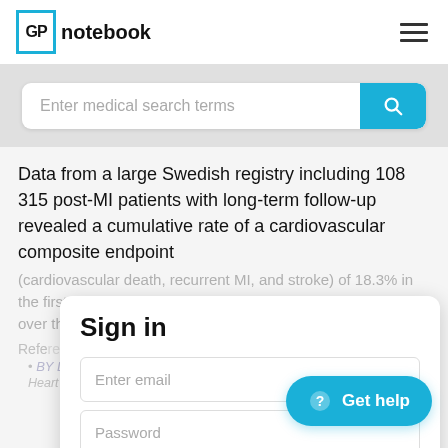GP notebook
[Figure (screenshot): Search bar with placeholder text 'Enter medical search terms' and a cyan search button with magnifying glass icon]
Data from a large Swedish registry including 108 315 post-MI patients with long-term follow-up revealed a cumulative rate of a cardiovascular composite endpoint
(cardiovascular death, recurrent MI, and stroke) of 18.3% in the first year after MI, 9.0% in the subsequent year and 20.0% over the following 3 years (3)
References
Sign in
Enter email
Password
Remember me